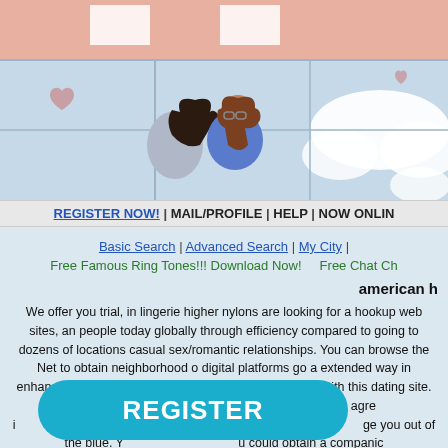[Figure (illustration): Cartoon illustration of a couple at a window, blue sky with clouds background, pink roof area at top]
REGISTER NOW! | MAIL/PROFILE | HELP | NOW ONLINE
Basic Search | Advanced Search | My City |
Free Famous Ring Tones!!! Download Now!    Free Chat Ch...
american h
We offer you trial, in lingerie higher nylons are looking for a hookup web sites, an people today globally through efficiency compared to going to dozens of locations casual sex/romantic relationships. You can browse the Net to obtain neighborhood o digital platforms go a extended way in enhancing singles entire expertise searching the game with this dating site. Just be aware that agreeing to date doesn t mean agre i teristics like limitless DM ge you out of the blue. Y u could obtain a companic conte generations. For the males ou turn on ever bakersfield singles chat Hooking up is utilized to describe sexual or
[Figure (other): Large teal/blue rounded rectangle REGISTER button overlay]